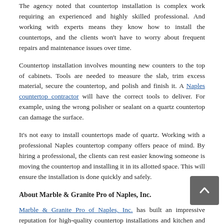The agency noted that countertop installation is complex work requiring an experienced and highly skilled professional. And working with experts means they know how to install the countertops, and the clients won't have to worry about frequent repairs and maintenance issues over time.
Countertop installation involves mounting new counters to the top of cabinets. Tools are needed to measure the slab, trim excess material, secure the countertop, and polish and finish it. A Naples countertop contractor will have the correct tools to deliver. For example, using the wrong polisher or sealant on a quartz countertop can damage the surface.
It's not easy to install countertops made of quartz. Working with a professional Naples countertop company offers peace of mind. By hiring a professional, the clients can rest easier knowing someone is moving the countertop and installing it in its allotted space. This will ensure the installation is done quickly and safely.
About Marble & Granite Pro of Naples, Inc.
Marble & Granite Pro of Naples, Inc. has built an impressive reputation for high-quality countertop installations and kitchen and bath countertops fabrication. From beautiful sinks to smooth edges, the hands-on company is fully equipped to install an unlimited variety of natural and synthetic materials, including marble, granite, quartzite, recycled glass, and even an excellent selection of manufactured quartz. The team has the experience...